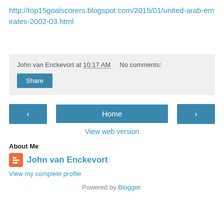http://top15goalscorers.blogspot.com/2015/01/united-arab-emirates-2002-03.html
John van Enckevort at 10:17 AM    No comments:
Share
‹  Home  ›
View web version
About Me
John van Enckevort
View my complete profile
Powered by Blogger.